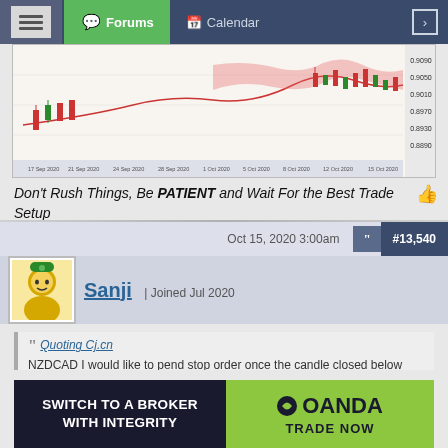Forums | Calendar
[Figure (screenshot): Candlestick chart showing NZDCAD price action with red and green candles, EMA lines, and arrows indicating trade setups]
Don't Rush Things, Be PATIENT and Wait For the Best Trade Setup
Oct 15, 2020 3:00am  #13,540
Sanji | Joined Jul 2020
Quoting Cj.cn
NZDCAD I would like to pend stop order once the candle closed below EMA. But it doesn't. What will you do? You will pend sell order below 1st arrow or 2nd arrow or not trade? {image}
The price is approaching the bottom of WCC, only trade when the trend is strong.
I'm not going to trade, even though it's down now.
[Figure (infographic): OANDA broker advertisement: SWITCH TO A BROKER WITH INTEGRITY | OANDA TRADE NOW]